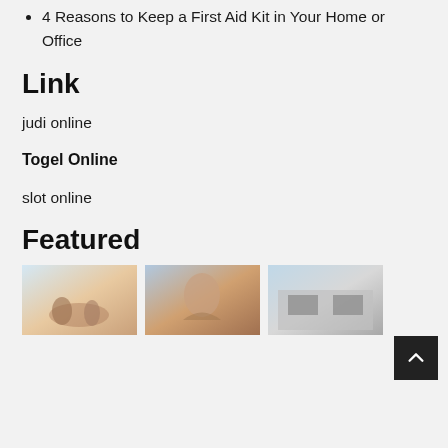4 Reasons to Keep a First Aid Kit in Your Home or Office
Link
judi online
Togel Online
slot online
Featured
[Figure (photo): Three thumbnail photos shown side by side under Featured section: first shows people at a beach/sunset, second shows a person with curly hair, third shows a building/garage exterior.]